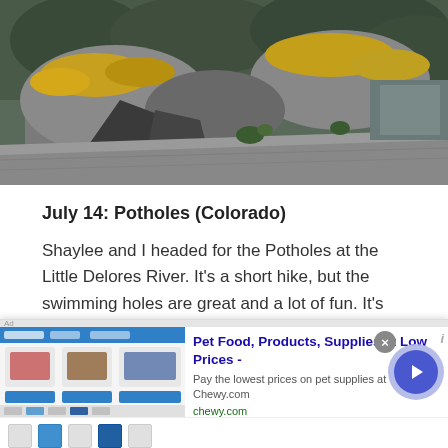[Figure (photo): Rocky mountainous terrain with large boulders, some with yellow/orange lichen, sparse green shrubs, gray rocky slope in the foreground]
July 14:  Potholes (Colorado)
Shaylee and I headed for the Potholes at the Little Delores River.   It's a short hike, but the swimming holes are great and a lot of fun.   It's beautiful as well.
July 13:  Peak 5750/Leon Peak (Colorado)
[Figure (screenshot): Advertisement overlay: Chewy.com pet food ad with headline 'Pet Food, Products, Supplies at Low Prices -', body text 'Pay the lowest prices on pet supplies at Chewy.com', URL 'chewy.com', close button, navigation arrow button, and bottom icon strip]